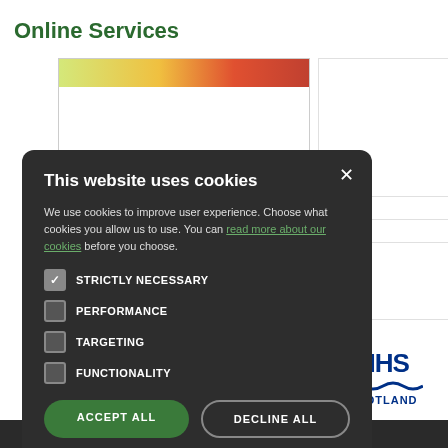Online Services
[Figure (screenshot): Website background with colorful food image banner and white content panels]
This website uses cookies
We use cookies to improve user experience. Choose what cookies you allow us to use. You can read more about our cookies before you choose.
STRICTLY NECESSARY
PERFORMANCE
TARGETING
FUNCTIONALITY
ACCEPT ALL
DECLINE ALL
[Figure (logo): NHS Scotland logo with dark blue text and wave graphic]
Copyright 2006 - 2022 My Surgery Website | Data Processing Poli